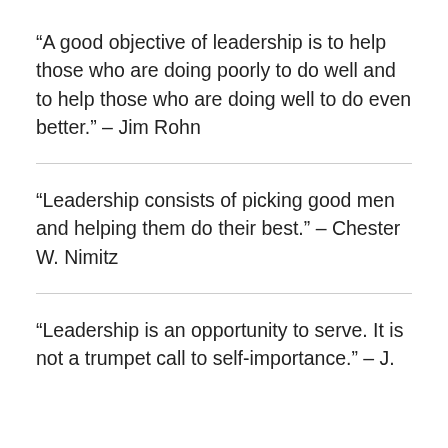“A good objective of leadership is to help those who are doing poorly to do well and to help those who are doing well to do even better.” – Jim Rohn
“Leadership consists of picking good men and helping them do their best.” – Chester W. Nimitz
“Leadership is an opportunity to serve. It is not a trumpet call to self-importance.” – J.